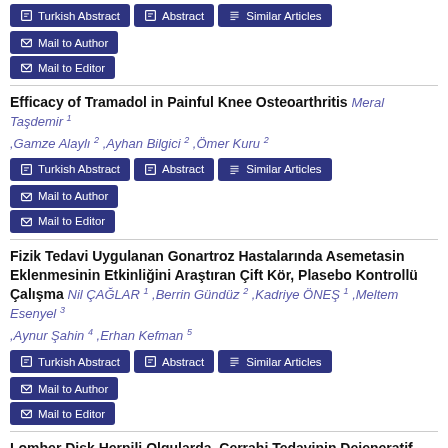buttons: Turkish Abstract, Abstract, Similar Articles, Mail to Author, Mail to Editor
Efficacy of Tramadol in Painful Knee Osteoarthritis
Meral Taşdemir 1 ,Gamze Alaylı 2 ,Ayhan Bilgici 2 ,Ömer Kuru 2
buttons: Turkish Abstract, Abstract, Similar Articles, Mail to Author, Mail to Editor
Fizik Tedavi Uygulanan Gonartroz Hastalarında Asemetasin Eklenmesinin Etkinliğini Araştıran Çift Kör, Plasebo Kontrollü Çalışma
Nil ÇAĞLAR 1 ,Berrin Gündüz 2 ,Kadriye ÖNEŞ 1 ,Meltem Esenyel 3 ,Aynur Şahin 4 ,Erhan Kefman 5
buttons: Turkish Abstract, Abstract, Similar Articles, Mail to Author, Mail to Editor
Lomber Disk Hernili Olgularda, Cerrahi Tedavinin Dejeneratif Süreç Gelişimi Üzerine Olası Etkileri
Teoman Aydın 1 ,Hakan Seyithanoğlu 2 ,Mahmut Remzi Savaş 3 ,Şafak Şahir Karamehmetoğlu 4 ,Halil Koyuncu 5 ,İlhan Karacan 6
buttons: Turkish Abstract, Abstract, Similar Articles, Mail to Author